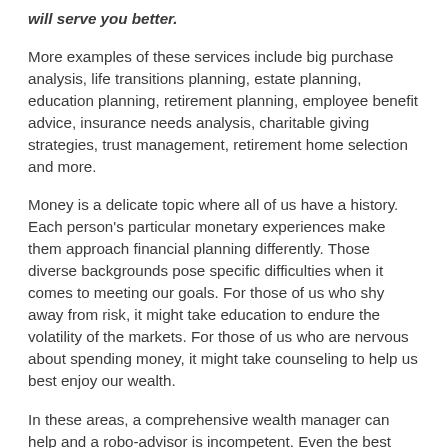will serve you better.
More examples of these services include big purchase analysis, life transitions planning, estate planning, education planning, retirement planning, employee benefit advice, insurance needs analysis, charitable giving strategies, trust management, retirement home selection and more.
Money is a delicate topic where all of us have a history. Each person’s particular monetary experiences make them approach financial planning differently. Those diverse backgrounds pose specific difficulties when it comes to meeting our goals. For those of us who shy away from risk, it might take education to endure the volatility of the markets. For those of us who are nervous about spending money, it might take counseling to help us best enjoy our wealth.
In these areas, a comprehensive wealth manager can help and a robo-advisor is incompetent. Even the best programmed asset allocation rebalancing tool cannot help a spender learn to save or guide a skittish investor to see the investment return